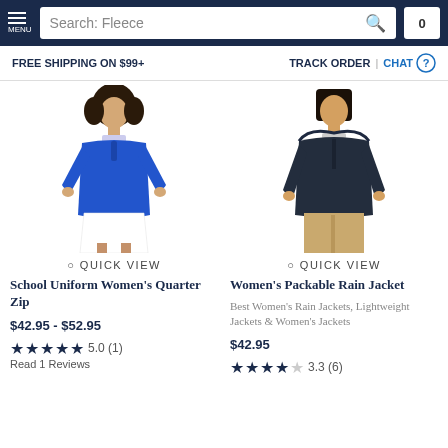Menu | Search: Fleece | Cart 0
FREE SHIPPING ON $99+    TRACK ORDER | CHAT
[Figure (photo): Woman wearing a blue quarter zip fleece pullover with white skirt]
[Figure (photo): Woman wearing a navy packable rain jacket with khaki pants]
QUICK VIEW
QUICK VIEW
School Uniform Women's Quarter Zip
Women's Packable Rain Jacket
$42.95 - $52.95
Best Women's Rain Jackets, Lightweight Jackets & Women's Jackets
★★★★★ 5.0 (1)
Read 1 Reviews
$42.95
★★★★☆ 3.3 (6)